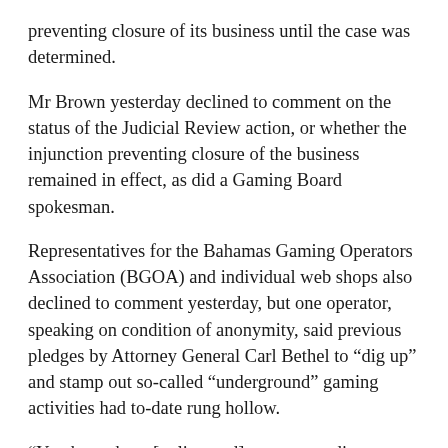preventing closure of its business until the case was determined.
Mr Brown yesterday declined to comment on the status of the Judicial Review action, or whether the injunction preventing closure of the business remained in effect, as did a Gaming Board spokesman.
Representatives for the Bahamas Gaming Operators Association (BGOA) and individual web shops also declined to comment yesterday, but one operator, speaking on condition of anonymity, said previous pledges by Attorney General Carl Bethel to “dig up” and stamp out so-called “underground” gaming activities had to-date rung hollow.
“You have these [unlicensed] guys expanding to take advantage of the patron tax and the Government is doing nothing,” the source said. “They’re going to cause us to lose money to the black market. If they’re going to increase taxes on us they’ve got to enforce the law.